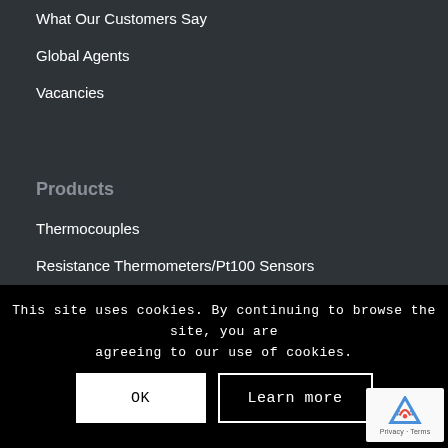What Our Customers Say
Global Agents
Vacancies
Products
Thermocouples
Resistance Thermometers/Pt100 Sensors
Online Store
Sensor Services
Calibration Service
This site uses cookies. By continuing to browse the site, you are agreeing to our use of cookies.